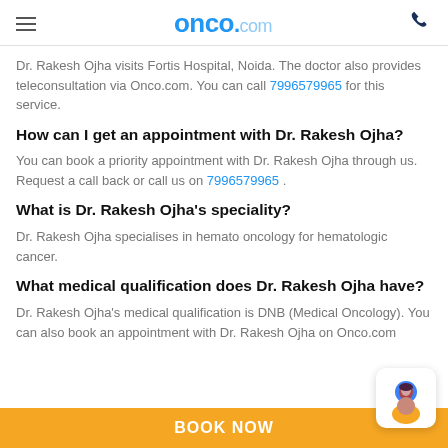onco.com
Dr. Rakesh Ojha visits Fortis Hospital, Noida. The doctor also provides teleconsultation via Onco.com. You can call 7996579965 for this service.
How can I get an appointment with Dr. Rakesh Ojha?
You can book a priority appointment with Dr. Rakesh Ojha through us. Request a call back or call us on 7996579965 .
What is Dr. Rakesh Ojha's speciality?
Dr. Rakesh Ojha specialises in hemato oncology for hematologic cancer.
What medical qualification does Dr. Rakesh Ojha have?
Dr. Rakesh Ojha's medical qualification is DNB (Medical Oncology). You can also book an appointment with Dr. Rakesh Ojha on Onco.com